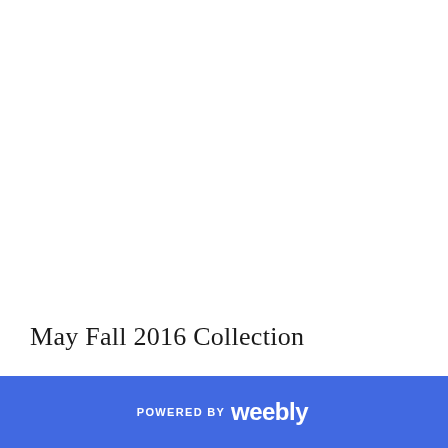May Fall 2016 Collection
POWERED BY weebly